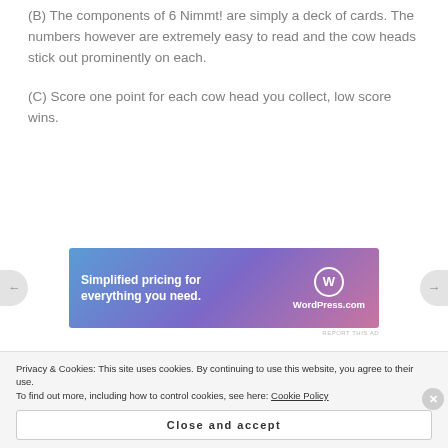(B) The components of 6 Nimmt! are simply a deck of cards. The numbers however are extremely easy to read and the cow heads stick out prominently on each.
(C) Score one point for each cow head you collect, low score wins.
[Figure (advertisement): WordPress.com advertisement banner: 'Simplified pricing for everything you need.' with WordPress logo and wordpress.com text on a blue-to-purple-to-pink gradient background.]
(D) Most of my favorite games involve an element of
Privacy & Cookies: This site uses cookies. By continuing to use this website, you agree to their use. To find out more, including how to control cookies, see here: Cookie Policy
Close and accept